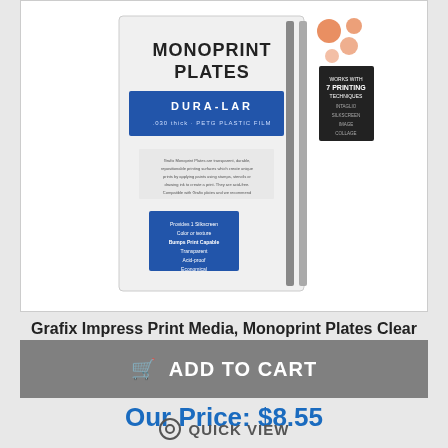[Figure (photo): Product photo of Grafix Monoprint Plates clear Dura-Lar packaging, showing a white/blue package with two plates and product details]
Grafix Impress Print Media, Monoprint Plates Clear Dura-Lar, 3 Pack, .030, 6"x9"
List: $9.50
Our Price: $8.55
ADD TO CART
QUICK VIEW